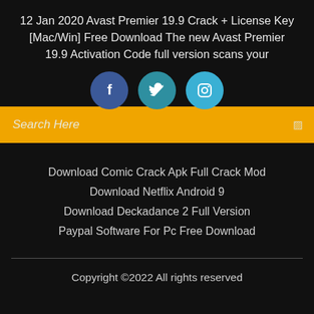12 Jan 2020 Avast Premier 19.9 Crack + License Key [Mac/Win] Free Download The new Avast Premier 19.9 Activation Code full version scans your
[Figure (illustration): Three social media icon circles: Facebook (dark blue), Twitter (teal), Instagram (light blue), partially overlapping a yellow search bar]
Search Here
Download Comic Crack Apk Full Crack Mod
Download Netflix Android 9
Download Deckadance 2 Full Version
Paypal Software For Pc Free Download
Copyright ©2022 All rights reserved